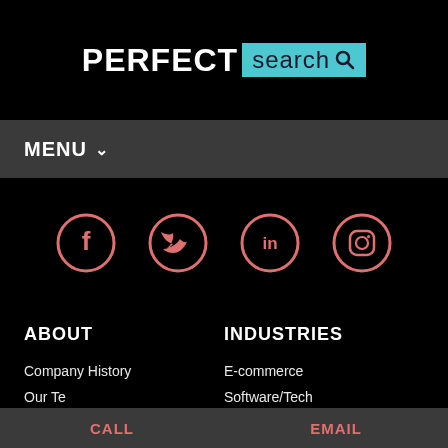[Figure (logo): Perfect Search logo: PERFECT in white bold text followed by a teal/cyan box containing 'search' and a search icon]
MENU ∨
[Figure (infographic): Four social media icons in pink/salmon color on black background: Facebook, Twitter, LinkedIn, Instagram — all circular outline style]
ABOUT
INDUSTRIES
Company History
E-commerce
Our Te…
Software/Tech…
CALL    EMAIL